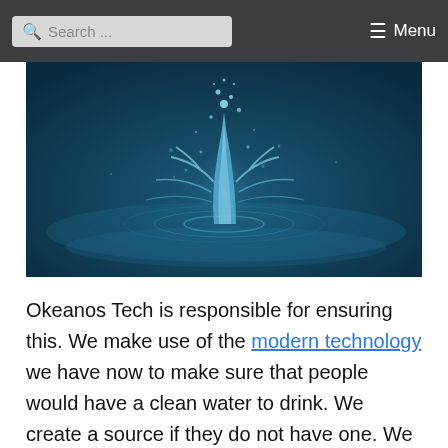Search ... Menu
[Figure (photo): Close-up photo of a water splash drop with blue-tinted water droplets and ripples on a dark blue background]
Okeanos Tech is responsible for ensuring this. We make use of the modern technology we have now to make sure that people would have a clean water to drink. We create a source if they do not have one. We transform their current source with the help of our top of the line filtration system. What more is that we